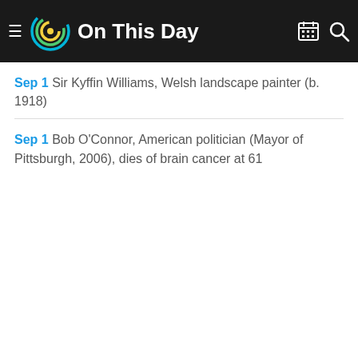On This Day
Sep 1 Sir Kyffin Williams, Welsh landscape painter (b. 1918)
Sep 1 Bob O'Connor, American politician (Mayor of Pittsburgh, 2006), dies of brain cancer at 61